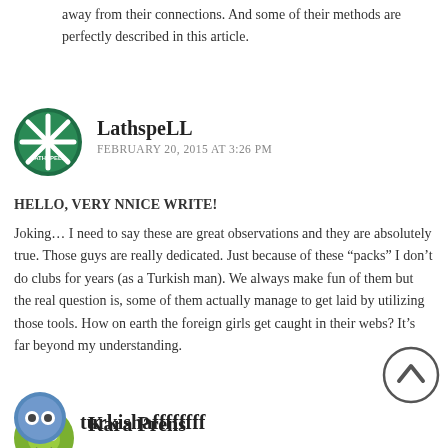away from their connections. And some of their methods are perfectly described in this article.
[Figure (illustration): Avatar icon for LathspeLL: circular green badge with white X/star shape and text LATHSPELL]
LathspeLL
FEBRUARY 20, 2015 AT 3:26 PM
HELLO, VERY NNICE WRITE!
Joking… I need to say these are great observations and they are absolutely true. Those guys are really dedicated. Just because of these “packs” I don’t do clubs for years (as a Turkish man). We always make fun of them but the real question is, some of them actually manage to get laid by utilizing those tools. How on earth the foreign girls get caught in their webs? It’s far beyond my understanding.
[Figure (illustration): Avatar icon for Kara Prens: circular cartoon frog/alien face on green badge]
Kara Prens
FEBRUARY 23, 2015 AT 7:44 PM
Please learn the reality before try to teach it. Yes in general all of the races living in Turkey called Turk. But your article is about Kurds. One of the races in Turkey.
[Figure (illustration): Scroll-to-top button: circle with upward chevron arrow]
[Figure (illustration): Avatar icon for turkishaffffffff: circular badge with cartoon eyes on blue/grey background]
turkishaffffffff